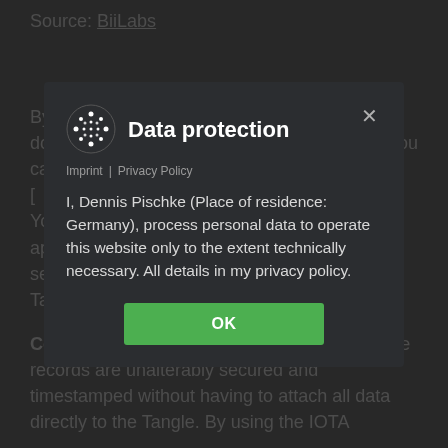Source: BiiLabs
By creating a cryptographic hash of the document and storing the hash in the Tangle you can prove that the data is [obscured by modal] da[ta...] Yo[u...] us[e...] ba[...] ap[...] th[...] se[...] data to the Tangle.
[Figure (screenshot): Data protection modal dialog overlay on a dark web page. The modal has a dark background (#2b2d30), shows an IOTA logo (white dotted/sparkle icon), title 'Data protection', a close X button, links for 'Imprint | Privacy Policy', body text 'I, Dennis Pischke (Place of residence: Germany), process personal data to operate this website only to the extent technically necessary. All details in my privacy policy.', and a green OK button.]
Conclusion: With this data storage solution the records are unalterably secured and timestamped without having to attach all data directly to the Tangle. By using the IOTA